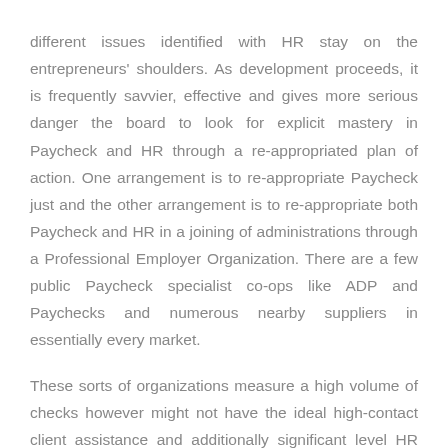different issues identified with HR stay on the entrepreneurs' shoulders. As development proceeds, it is frequently savvier, effective and gives more serious danger the board to look for explicit mastery in Paycheck and HR through a re-appropriated plan of action. One arrangement is to re-appropriate Paycheck just and the other arrangement is to re-appropriate both Paycheck and HR in a joining of administrations through a Professional Employer Organization. There are a few public Paycheck specialist co-ops like ADP and Paychecks and numerous nearby suppliers in essentially every market.
These sorts of organizations measure a high volume of checks however might not have the ideal high-contact client assistance and additionally significant level HR mastery. A vital differentiator between the individuals who go to showcase as a Paycheck preparing organization and a